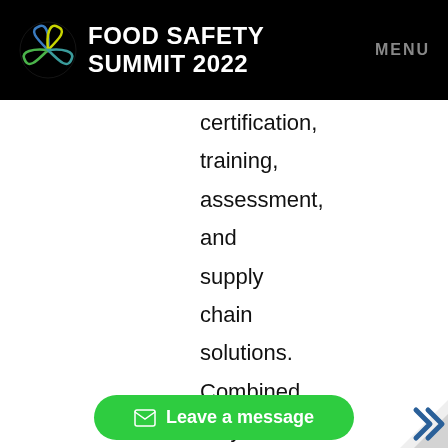FOOD SAFETY SUMMIT 2022 | MENU
certification,

training,

assessment,

and

supply

chain

solutions.

Combined,

they

can

help